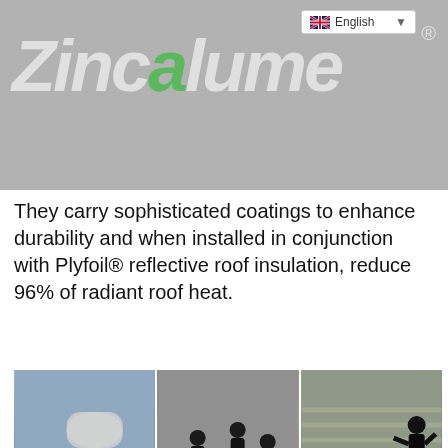[Figure (screenshot): Zincalume brand logo on grey background with English language selector in top right corner]
They carry sophisticated coatings to enhance durability and when installed in conjunction with Plyfoil® reflective roof insulation, reduce 96% of radiant roof heat.
[Figure (photo): Three panel photo strip showing workers installing reflective roof insulation (Plyfoil) on a metal roof. Right panel shows PLY-FOIL Reflective Insulation branding.]
Need Help? Chat with us
Cookies Policy
13 Colorbond® colours in Zincalume®